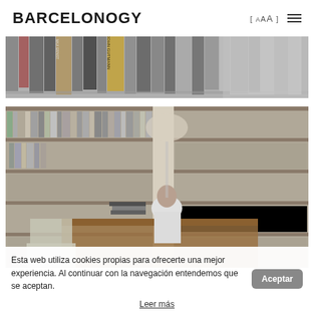BARCELONOGY  [AAA]  ☰
[Figure (photo): Close-up photo of book spines on shelves with titles visible, including John Gutmann and Max Ernst books. Muted gray-toned image.]
[Figure (photo): Photo of a library interior with tall bookshelves filled with books on both sides, and a person wearing a white shirt sitting at a wooden table reading or writing. Muted gray-toned image.]
Esta web utiliza cookies propias para ofrecerte una mejor experiencia. Al continuar con la navegación entendemos que se aceptan.
Aceptar
Leer más